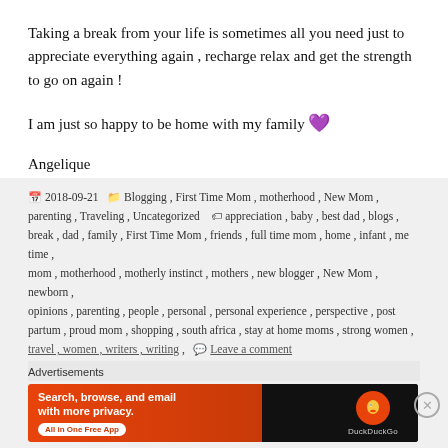Taking a break from your life is sometimes all you need just to appreciate everything again , recharge relax and get the strength to go on again !
I am just so happy to be home with my family 💜
Angelique
2018-09-21  Blogging , First Time Mom , motherhood , New Mom , parenting , Traveling , Uncategorized   appreciation , baby , best dad , blogs , break , dad , family , First Time Mom , friends , full time mom , home , infant , me time , mom , motherhood , motherly instinct , mothers , new blogger , New Mom , newborn , opinions , parenting , people , personal , personal experience , perspective , post partum , proud mom , shopping , south africa , stay at home moms , strong women , travel , women , writers , writing ,  Leave a comment
Advertisements
[Figure (infographic): DuckDuckGo advertisement banner: 'Search, browse, and email with more privacy. All in One Free App' with DuckDuckGo logo on dark right side.]